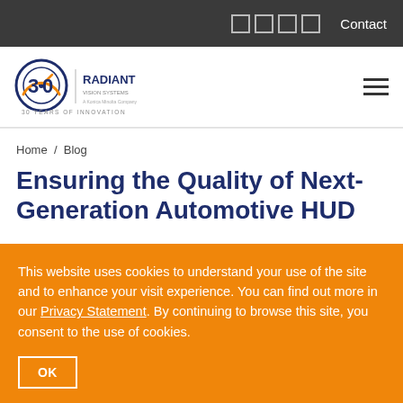Contact
[Figure (logo): Radiant Vision Systems 30 Years of Innovation logo]
Home / Blog
Ensuring the Quality of Next-Generation Automotive HUD
This website uses cookies to understand your use of the site and to enhance your visit experience. You can find out more in our Privacy Statement. By continuing to browse this site, you consent to the use of cookies.
OK